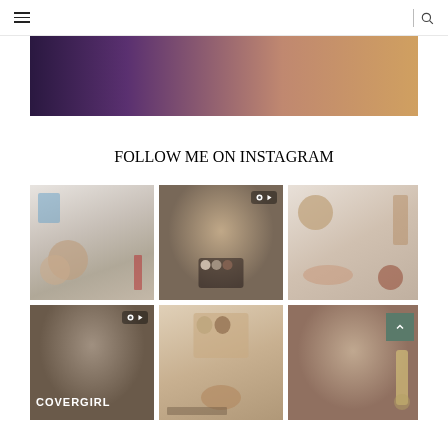Navigation header with hamburger menu and search icon
[Figure (photo): Cropped photo of a person with dark purple/blue hair, face partially visible]
FOLLOW ME ON INSTAGRAM
[Figure (photo): Instagram grid image 1: Makeup products flatlay with brushes and cosmetics]
[Figure (photo): Instagram grid image 2: Woman holding eyeshadow palette, reel icon overlay]
[Figure (photo): Instagram grid image 3: Beauty products flatlay on white surface]
[Figure (photo): Instagram grid image 4: Woman selfie with COVERGIRL text overlay, reel icon]
[Figure (photo): Instagram grid image 5: Makeup products flatlay with cream and compact]
[Figure (photo): Instagram grid image 6: Woman holding beauty product, scroll-to-top button overlay]